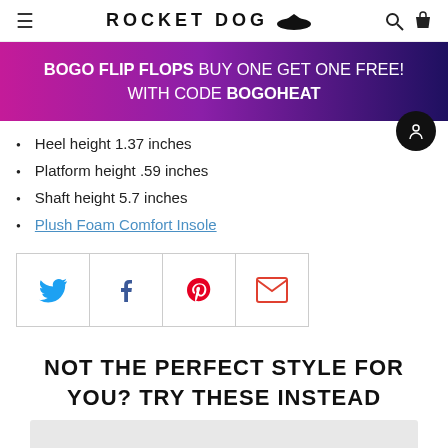ROCKET DOG
[Figure (infographic): Promotional banner with gradient pink-to-dark-purple background. Text: BOGO FLIP FLOPS BUY ONE GET ONE FREE! WITH CODE BOGOHEAT]
Heel height 1.37 inches
Platform height .59 inches
Shaft height 5.7 inches
Plush Foam Comfort Insole
[Figure (infographic): Social share buttons: Twitter (blue bird), Facebook (dark blue f), Pinterest (red P), Email (red envelope)]
NOT THE PERFECT STYLE FOR YOU? TRY THESE INSTEAD